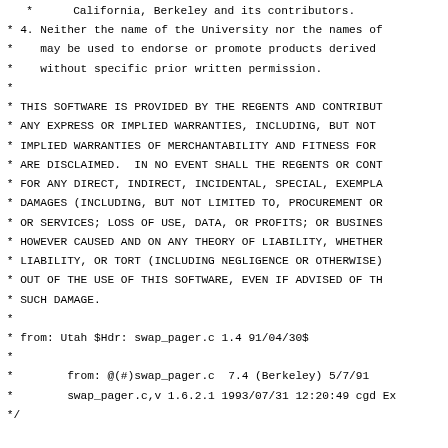*      California, Berkeley and its contributors.
 * 4. Neither the name of the University nor the names of
 *    may be used to endorse or promote products derived
 *    without specific prior written permission.
 *
 * THIS SOFTWARE IS PROVIDED BY THE REGENTS AND CONTRIBUT
 * ANY EXPRESS OR IMPLIED WARRANTIES, INCLUDING, BUT NOT
 * IMPLIED WARRANTIES OF MERCHANTABILITY AND FITNESS FOR
 * ARE DISCLAIMED.  IN NO EVENT SHALL THE REGENTS OR CONT
 * FOR ANY DIRECT, INDIRECT, INCIDENTAL, SPECIAL, EXEMPLA
 * DAMAGES (INCLUDING, BUT NOT LIMITED TO, PROCUREMENT OR
 * OR SERVICES; LOSS OF USE, DATA, OR PROFITS; OR BUSINES
 * HOWEVER CAUSED AND ON ANY THEORY OF LIABILITY, WHETHER
 * LIABILITY, OR TORT (INCLUDING NEGLIGENCE OR OTHERWISE)
 * OUT OF THE USE OF THIS SOFTWARE, EVEN IF ADVISED OF TH
 * SUCH DAMAGE.
 *
 * from: Utah $Hdr: swap_pager.c 1.4 91/04/30$
 *
 *        from: @(#)swap_pager.c  7.4 (Berkeley) 5/7/91
 *        swap_pager.c,v 1.6.2.1 1993/07/31 12:20:49 cgd Ex
 */

/*
 * Quick hack to page to dedicated partition(s).
 * TODO:
 *        Add multiprocessor locks
 *        Deal with async writes in a better fashion
 */